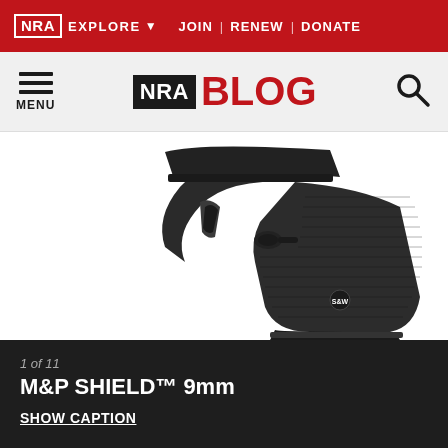NRA EXPLORE JOIN | RENEW | DONATE
NRA BLOG — MENU
[Figure (photo): Close-up photograph of the grip and trigger guard area of a Smith & Wesson M&P Shield 9mm handgun against a white background. The pistol body is black polymer with textured grip panels. The trigger guard, thumb safety, and magazine base plate are visible.]
1 of 11
M&P SHIELD™ 9mm
SHOW CAPTION